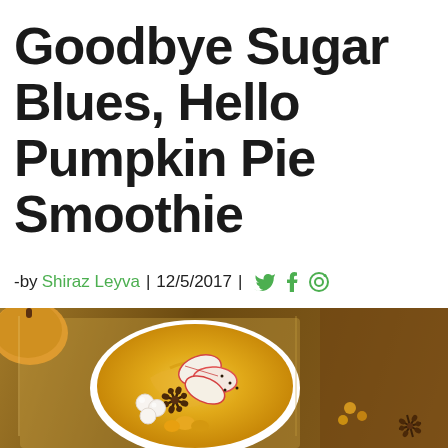Goodbye Sugar Blues, Hello Pumpkin Pie Smoothie
-by Shiraz Leyva | 12/5/2017 | [twitter] [facebook] [pinterest]
[Figure (photo): Overhead photo of a pumpkin pie smoothie bowl garnished with apple slices, star anise, white pearls/balls, and golden berries, placed on a wooden board with a whole pumpkin and loose star anise nearby]